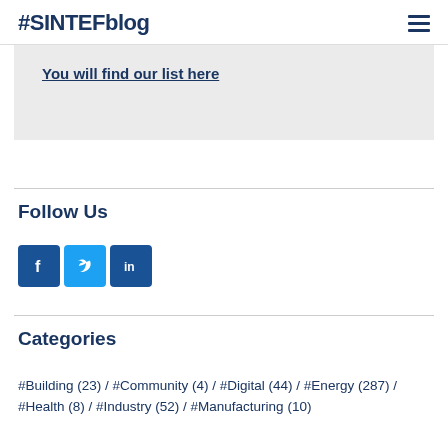#SINTEFblog
You will find our list here
Follow Us
[Figure (other): Social media icons: Facebook (blue square with f), Twitter (light blue square with bird icon), LinkedIn (dark blue square with in)]
Categories
#Building (23) / #Community (4) / #Digital (44) / #Energy (287) / #Health (8) / #Industry (52) / #Manufacturing (10)